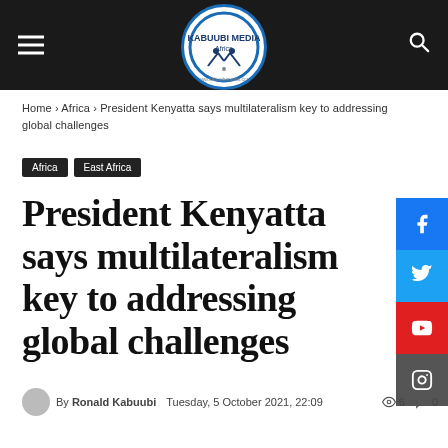Kabuubi Media Africa — navigation bar with logo, hamburger menu, and search icon
Home › Africa › President Kenyatta says multilateralism key to addressing global challenges
Africa
East Africa
President Kenyatta says multilateralism key to addressing global challenges
By Ronald Kabuubi   Tuesday, 5 October 2021, 22:09   👁 6   💬 0